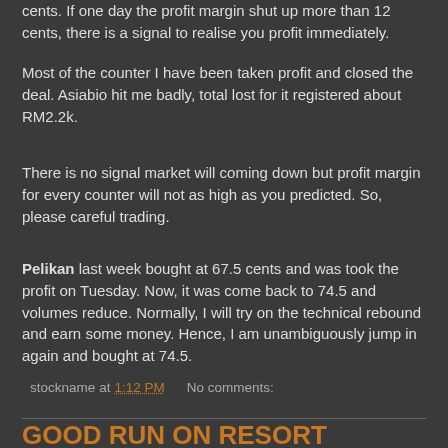cents. If one day the profit margin shut up more than 12 cents, there is a signal to realise you profit immediately.
Most of the counter I have been taken profit and closed the deal. Asiabio hit me badly, total lost for it registered about RM2.2k.
There is no signal market will coming down but profit margin for every counter will not as high as you predicted. So, please careful trading.
Pelikan last week bought at 67.5 cents and was took the profit on Tuesday. Now, it was come back to 74.5 and volumes reduce. Normally, I will try on the technical rebound and earn some money. Hence, I am unambiguously jump in again and bought at 74.5.
stockname at 1:12 PM   No comments:
GOOD RUN ON RESORT